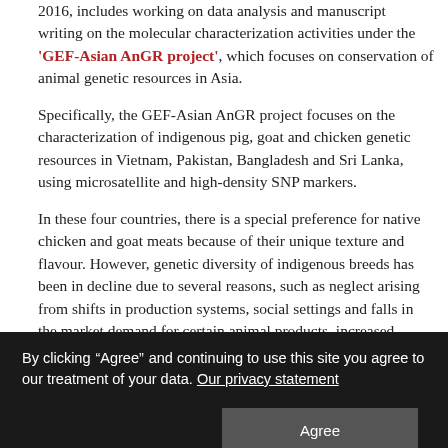2016, includes working on data analysis and manuscript writing on the molecular characterization activities under the 'GEF-Asian AnGR project', which focuses on conservation of animal genetic resources in Asia.
Specifically, the GEF-Asian AnGR project focuses on the characterization of indigenous pig, goat and chicken genetic resources in Vietnam, Pakistan, Bangladesh and Sri Lanka, using microsatellite and high-density SNP markers.
In these four countries, there is a special preference for native chicken and goat meats because of their unique texture and flavour. However, genetic diversity of indigenous breeds has been in decline due to several reasons, such as neglect arising from shifts in production systems, social settings and falls in the market demand for certain animal products, increased cross-breeding to increase productivity, and rapid urbanization.
Conservation of genetic diversity, underlying adaptability and potential of
By clicking “Agree” and continuing to use this site you agree to our treatment of your data. Our privacy statement
goats